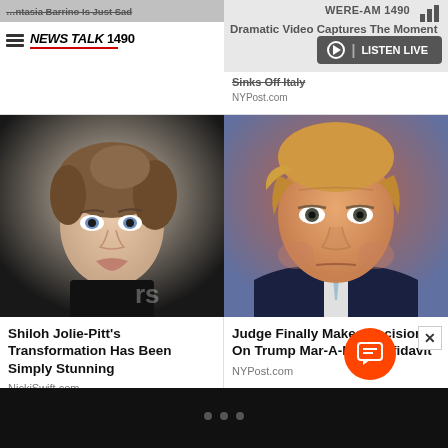[Figure (screenshot): News website screenshot showing WERE-AM 1490 / NewsTalk 1490 page with two news stories and a Listen Live button]
WERE-AM 1490
NEWS TALK 1490
Dramatic Video Captures The Moment... Sinks Off Italy
NYPost.com
[Figure (photo): Young woman with brown hair pulled up, blue eyes, wearing black clothing, at what appears to be a red carpet event]
Shiloh Jolie-Pitt's Transformation Has Been Simply Stunning
NickiSwift.com
[Figure (photo): Close-up photo of Donald Trump with serious expression, wearing a dark suit and light tie]
Judge Finally Makes Decision On Trump Mar-A-Lago Affidavit
NYPost.com